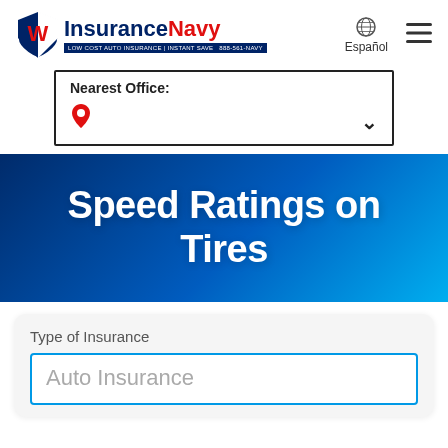InsuranceNavy | Español | Menu
Nearest Office:
Speed Ratings on Tires
Type of Insurance
Auto Insurance